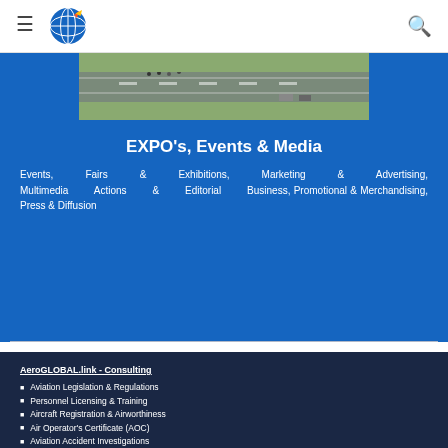Navigation bar with hamburger menu, AeroGLOBAL logo, and search icon
[Figure (photo): Aerial photograph of an airfield/tarmac with people and vehicles visible]
EXPO's, Events & Media
Events, Fairs & Exhibitions, Marketing & Advertising, Multimedia Actions & Editorial Business, Promotional & Merchandising, Press & Diffusion
AeroGLOBAL.link - Consulting
Aviation Legislation & Regulations
Personnel Licensing & Training
Aircraft Registration & Airworthiness
Air Operator's Certificate (AOC)
Aviation Accident Investigations
Aviation Law - Legal Affairs Services
AVSEC: Aviation Security